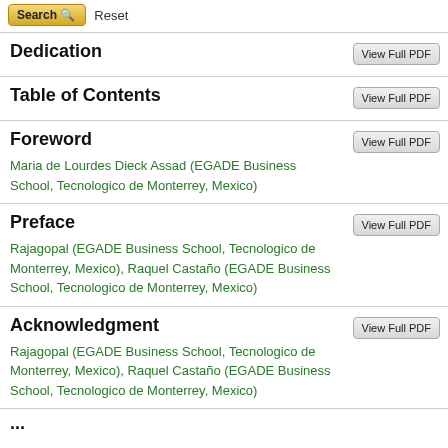Search  Reset
Dedication
Table of Contents
Foreword
Maria de Lourdes Dieck Assad (EGADE Business School, Tecnologico de Monterrey, Mexico)
Preface
Rajagopal (EGADE Business School, Tecnologico de Monterrey, Mexico), Raquel Castaño (EGADE Business School, Tecnologico de Monterrey, Mexico)
Acknowledgment
Rajagopal (EGADE Business School, Tecnologico de Monterrey, Mexico), Raquel Castaño (EGADE Business School, Tecnologico de Monterrey, Mexico)